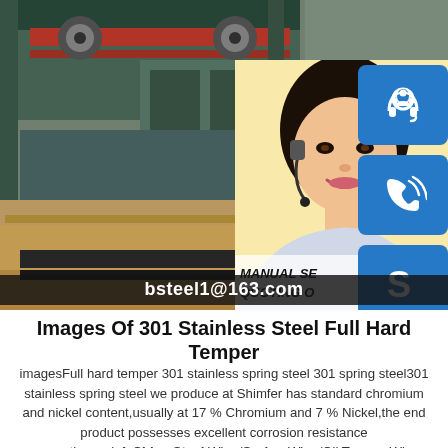[Figure (photo): Industrial steel factory interior with steel plates and overhead cranes; overlaid with a customer service representative photo and blue contact icon buttons (headset, phone, Skype). Text overlay shows MANUAL SE, QUOTING O, and email bsteel1@163.com]
Images Of 301 Stainless Steel Full Hard Temper
imagesFull hard temper 301 stainless spring steel 301 spring steel301 stainless spring steel we produce at Shimfer has standard chromium and nickel content,usually at 17 % Chromium and 7 % Nickel,the end product possesses excellent corrosion resistance properties.sp.infoChina Steel Wire /Spring Wire /Oil Temper Wire